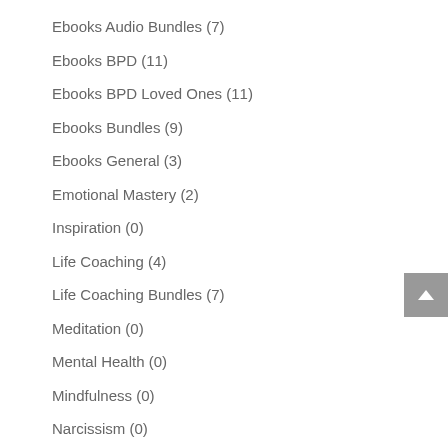Ebooks Audio Bundles (7)
Ebooks BPD (11)
Ebooks BPD Loved Ones (11)
Ebooks Bundles (9)
Ebooks General (3)
Emotional Mastery (2)
Inspiration (0)
Life Coaching (4)
Life Coaching Bundles (7)
Meditation (0)
Mental Health (0)
Mindfulness (0)
Narcissism (0)
Narcissism - Coaching for Loved Ones (1)
Narcissism NPD Coaching (0)